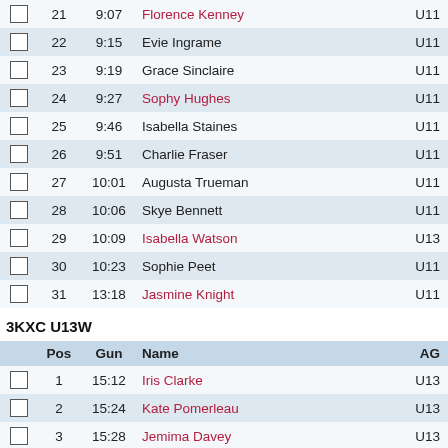|  | Pos | Gun | Name | AG |
| --- | --- | --- | --- | --- |
| ☐ | 21 | 9:07 | Florence Kenney | U11 |
| ☐ | 22 | 9:15 | Evie Ingrame | U11 |
| ☐ | 23 | 9:19 | Grace Sinclaire | U11 |
| ☐ | 24 | 9:27 | Sophy Hughes | U11 |
| ☐ | 25 | 9:46 | Isabella Staines | U11 |
| ☐ | 26 | 9:51 | Charlie Fraser | U11 |
| ☐ | 27 | 10:01 | Augusta Trueman | U11 |
| ☐ | 28 | 10:06 | Skye Bennett | U11 |
| ☐ | 29 | 10:09 | Isabella Watson | U13 |
| ☐ | 30 | 10:23 | Sophie Peet | U11 |
| ☐ | 31 | 13:18 | Jasmine Knight | U11 |
3KXC U13W
|  | Pos | Gun | Name | AG |
| --- | --- | --- | --- | --- |
| ☐ | 1 | 15:12 | Iris Clarke | U13 |
| ☐ | 2 | 15:24 | Kate Pomerleau | U13 |
| ☐ | 3 | 15:28 | Jemima Davey | U13 |
| ☐ | 4 | 15:40 | Amelie Brown | U13 |
| ☐ | 5 | 15:47 | Caitlin McCarney | U13 |
| ☐ | 6 | 15:50 | Evie Hemmings | U13 |